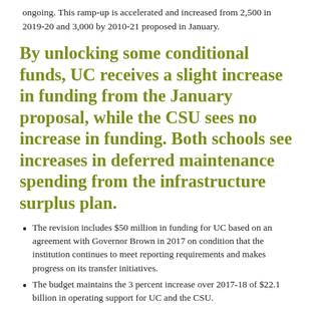ongoing. This ramp-up is accelerated and increased from 2,500 in 2019-20 and 3,000 by 2010-21 proposed in January.
By unlocking some conditional funds, UC receives a slight increase in funding from the January proposal, while the CSU sees no increase in funding. Both schools see increases in deferred maintenance spending from the infrastructure surplus plan.
The revision includes $50 million in funding for UC based on an agreement with Governor Brown in 2017 on condition that the institution continues to meet reporting requirements and makes progress on its transfer initiatives.
The budget maintains the 3 percent increase over 2017-18 of $22.1 billion in operating support for UC and the CSU.